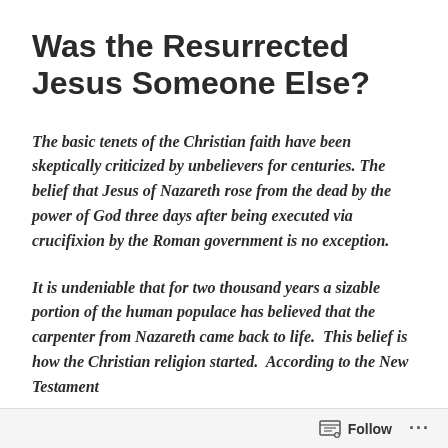Was the Resurrected Jesus Someone Else?
The basic tenets of the Christian faith have been skeptically criticized by unbelievers for centuries. The belief that Jesus of Nazareth rose from the dead by the power of God three days after being executed via crucifixion by the Roman government is no exception.
It is undeniable that for two thousand years a sizable portion of the human populace has believed that the carpenter from Nazareth came back to life.  This belief is how the Christian religion started.  According to the New Testament
Follow